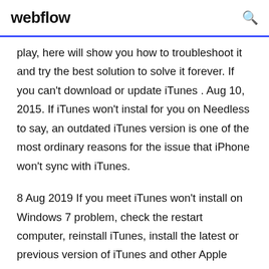webflow
play, here will show you how to troubleshoot it and try the best solution to solve it forever. If you can't download or update iTunes . Aug 10, 2015. If iTunes won't instal for you on Needless to say, an outdated iTunes version is one of the most ordinary reasons for the issue that iPhone won't sync with iTunes.
8 Aug 2019 If you meet iTunes won't install on Windows 7 problem, check the restart computer, reinstall iTunes, install the latest or previous version of iTunes and other Apple software on Windows, then download and reinstall iTunes. 15 Mar 2019 Download Apple